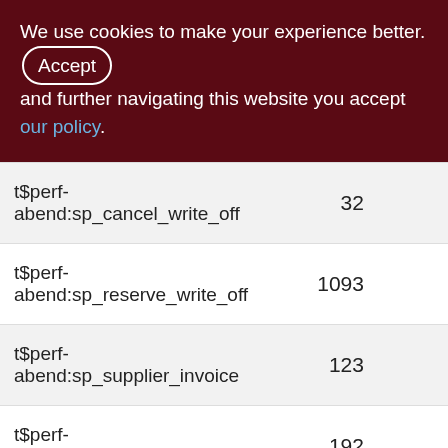We use cookies to make your experience better. By accepting and further navigating this website you accept our policy.
| Function | Col2 | Col3 |
| --- | --- | --- |
| t$perf-abend:sp_cancel_write_off | 32 |  |
| t$perf-abend:sp_reserve_write_off | 1093 | 10 |
| t$perf-abend:sp_supplier_invoice | 123 | 1 |
| t$perf-abend:sp_supplier_order | 192 | 1 |
| t$perf-norm:sp_add_invoice_to_stock | 12869 | 128 |
| t$perf- | 1442 | 14 |